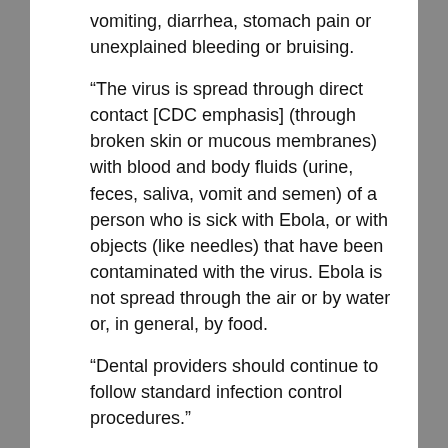vomiting, diarrhea, stomach pain or unexplained bleeding or bruising.
“The virus is spread through direct contact [CDC emphasis] (through broken skin or mucous membranes) with blood and body fluids (urine, feces, saliva, vomit and semen) of a person who is sick with Ebola, or with objects (like needles) that have been contaminated with the virus. Ebola is not spread through the air or by water or, in general, by food.
“Dental providers should continue to follow standard infection control procedures.”
And from the ADA website:
There is no risk of transmission of Ebola from asymptomatic infected patients. According to the